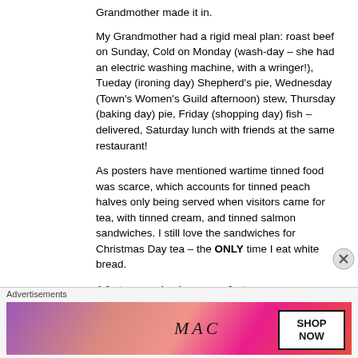Grandmother made it in.
My Grandmother had a rigid meal plan: roast beef on Sunday, Cold on Monday (wash-day – she had an electric washing machine, with a wringer!), Tueday (ironing day) Shepherd’s pie, Wednesday (Town’s Women’s Guild afternoon) stew, Thursday (baking day) pie, Friday (shopping day) fish – delivered, Saturday lunch with friends at the same restaurant!
As posters have mentioned wartime tinned food was scarce, which accounts for tinned peach halves only being served when visitors came for tea, with tinned cream, and tinned salmon sandwiches. I still love the sandwiches for Christmas Day tea – the ONLY time I eat white bread.
A factory-owning lace manufacturer, my Grandfather also had a plot of land where he grew fruits and
Advertisements
[Figure (other): MAC cosmetics advertisement showing lipsticks in purple, pink, and red colors with MAC logo text and a SHOP NOW button in a bordered box.]